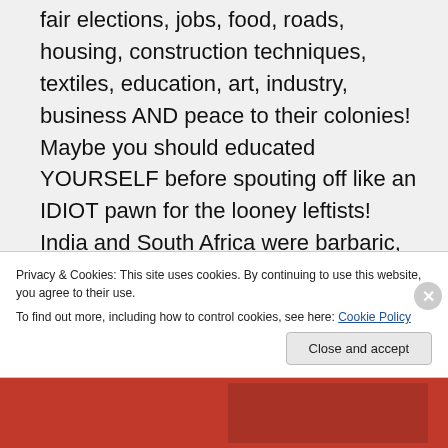fair elections, jobs, food, roads, housing, construction techniques, textiles, education, art, industry, business AND peace to their colonies! Maybe you should educated YOURSELF before spouting off like an IDIOT pawn for the looney leftists! India and South Africa were barbaric, savage, brutal tribal countries where, throughout history, the inhabitants habitually
Privacy & Cookies: This site uses cookies. By continuing to use this website, you agree to their use. To find out more, including how to control cookies, see here: Cookie Policy
Close and accept